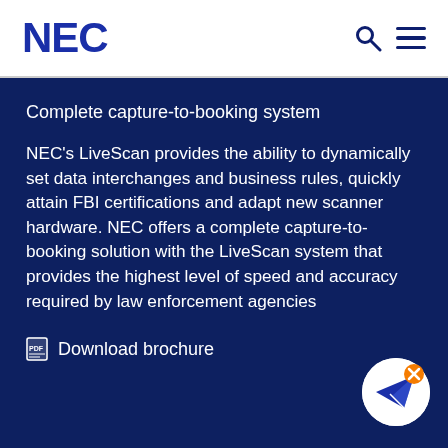[Figure (logo): NEC logo in dark blue bold text]
[Figure (other): Search and hamburger menu icons in header]
Complete capture-to-booking system
NEC's LiveScan provides the ability to dynamically set data interchanges and business rules, quickly attain FBI certifications and adapt new scanner hardware. NEC offers a complete capture-to-booking solution with the LiveScan system that provides the highest level of speed and accuracy required by law enforcement agencies
Download brochure